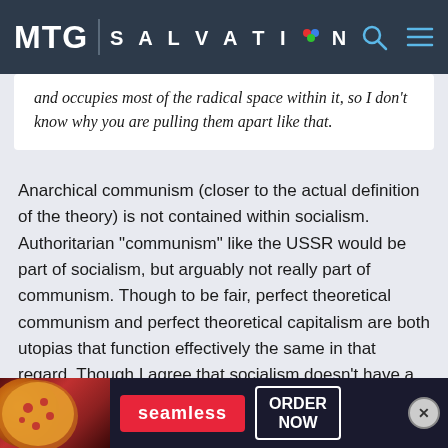MTG | SALVATION
and occupies most of the radical space within it, so I don't know why you are pulling them apart like that.
Anarchical communism (closer to the actual definition of the theory) is not contained within socialism. Authoritarian "communism" like the USSR would be part of socialism, but arguably not really part of communism. Though to be fair, perfect theoretical communism and perfect theoretical capitalism are both utopias that function effectively the same in that regard. Though I agree that socialism doesn't have a solid place on the radical left, even though it is often placed there in the US.
[Figure (screenshot): Seamless food delivery advertisement banner with pizza image, Seamless logo in red, and ORDER NOW button in white border]